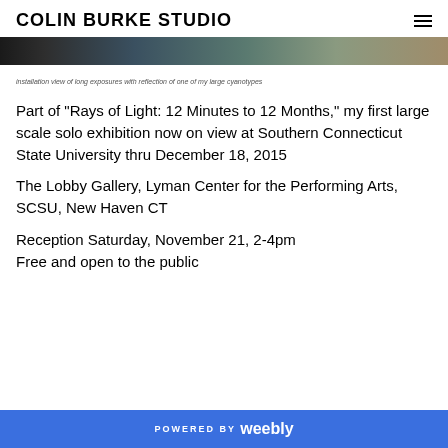COLIN BURKE STUDIO
[Figure (photo): Partial view of an installation with a reflection of a large cyanotype, showing dark and teal/khaki toned image strip]
installation view of long exposures with reflection of one of my large cyanotypes
Part of "Rays of Light: 12 Minutes to 12 Months," my first large scale solo exhibition now on view at Southern Connecticut State University thru December 18, 2015
The Lobby Gallery, Lyman Center for the Performing Arts, SCSU, New Haven CT
Reception Saturday, November 21, 2-4pm
Free and open to the public
POWERED BY weebly